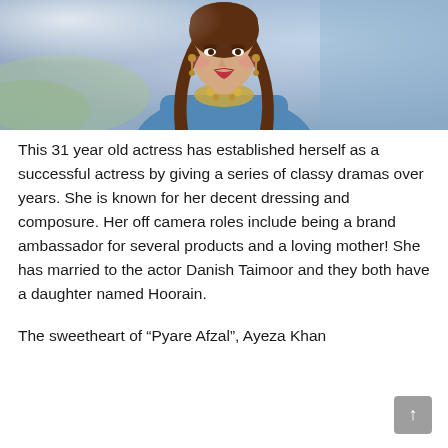[Figure (photo): Photo of a young woman with long brown hair wearing a blue outfit and gold necklace, looking at camera with slight smile, outdoor blurred background]
This 31 year old actress has established herself as a successful actress by giving a series of classy dramas over years. She is known for her decent dressing and composure. Her off camera roles include being a brand ambassador for several products and a loving mother! She has married to the actor Danish Taimoor and they both have a daughter named Hoorain.
The sweetheart of “Pyare Afzal”, Ayeza Khan